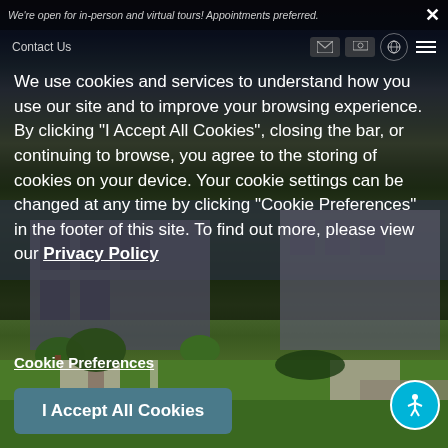We're open for in-person and virtual tours! Appointments preferred.
Contact Us
We use cookies and services to understand how you use our site and to improve your browsing experience. By clicking "I Accept All Cookies", closing the bar, or continuing to browse, you agree to the storing of cookies on your device. Your cookie settings can be changed at any time by clicking "Cookie Preferences" in the footer of this site. To find out more, please view our Privacy Policy
Cookie Preferences
I Accept All Cookies
[Figure (photo): Exterior photo of apartment complex with green lawn, sidewalks, and trees]